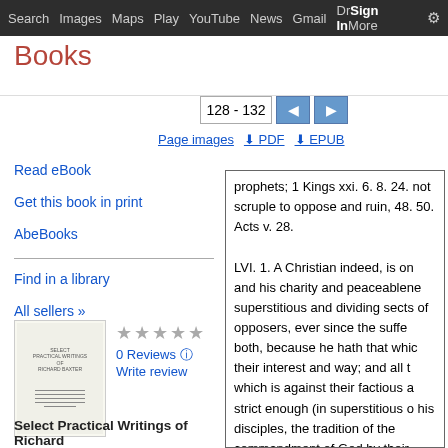Search  Images  Maps  Play  YouTube  News  Gmail  Drive  More  Sign in  Settings
Books
128 - 132
Page images  PDF  EPUB
Read eBook
Get this book in print
AbeBooks
Find in a library
All sellers »
[Figure (illustration): Book cover thumbnail image]
0 Reviews
Write review
Select Practical Writings of Richard Baxter: With a Life of the Author
prophets; 1 Kings xxi. 6. 8. 24. not scruple to oppose and ruin, 48. 50. Acts v. 28.

LVI. 1. A Christian indeed, is one and his charity and peaceableness superstitious and dividing sects of opposers, ever since the sufferings both, because he hath that which their interest and way; and all that which is against their factious and strict enough (in superstitious or his disciples, the tradition of the commandment of God by their observation of the sabbath day;